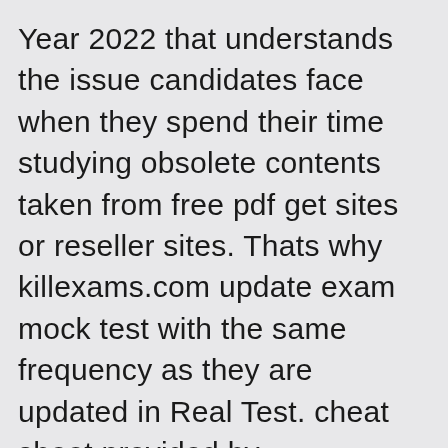Year 2022 that understands the issue candidates face when they spend their time studying obsolete contents taken from free pdf get sites or reseller sites. Thats why killexams.com update exam mock test with the same frequency as they are updated in Real Test. cheat sheet provided by killexams.com are Reliable, Up-to-date and validated by Certified Professionals. They assist in huge collection of